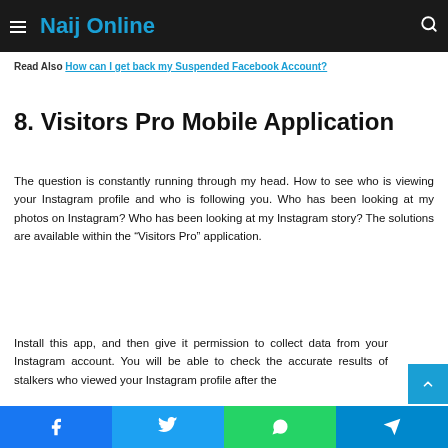Naij Online
Read Also How can I get back my Suspended Facebook Account?
8. Visitors Pro Mobile Application
The question is constantly running through my head. How to see who is viewing your Instagram profile and who is following you. Who has been looking at my photos on Instagram? Who has been looking at my Instagram story? The solutions are available within the “Visitors Pro” application.
Install this app, and then give it permission to collect data from your Instagram account. You will be able to check the accurate results of stalkers who viewed your Instagram profile after the